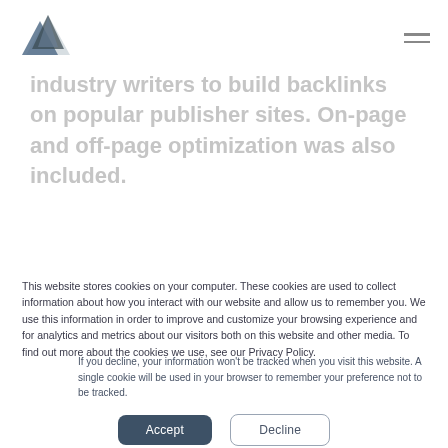[Logo] [Hamburger menu]
industry writers to build backlinks on popular publisher sites. On-page and off-page optimization was also included.
This website stores cookies on your computer. These cookies are used to collect information about how you interact with our website and allow us to remember you. We use this information in order to improve and customize your browsing experience and for analytics and metrics about our visitors both on this website and other media. To find out more about the cookies we use, see our Privacy Policy.
If you decline, your information won't be tracked when you visit this website. A single cookie will be used in your browser to remember your preference not to be tracked.
Accept  Decline